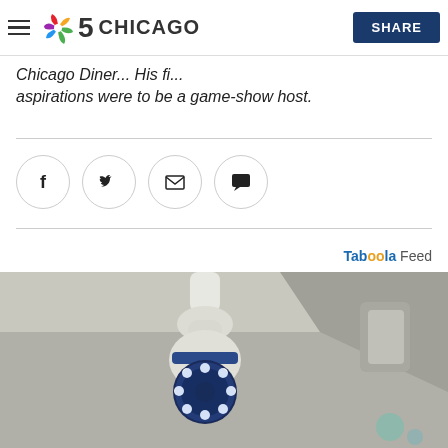NBC 5 Chicago — SHARE
Chicago Diner... aspirations were to be a game-show host.
[Figure (other): Social sharing icons: Facebook, Twitter, Email, Comment]
Taboola Feed
[Figure (photo): Close-up photo of a white smart security camera (bulb-shaped PTZ camera) mounted on a ceiling, with blue LED lights glowing on the camera lens, set against a grey background]